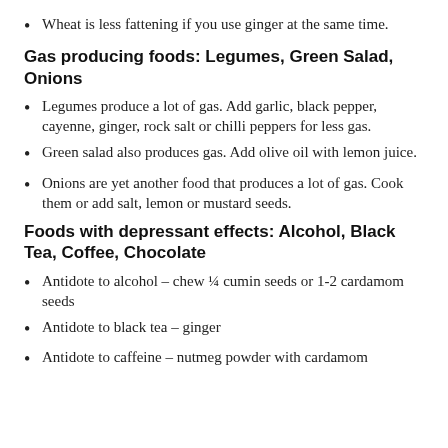Wheat is less fattening if you use ginger at the same time.
Gas producing foods: Legumes, Green Salad, Onions
Legumes produce a lot of gas. Add garlic, black pepper, cayenne, ginger, rock salt or chilli peppers for less gas.
Green salad also produces gas. Add olive oil with lemon juice.
Onions are yet another food that produces a lot of gas. Cook them or add salt, lemon or mustard seeds.
Foods with depressant effects: Alcohol, Black Tea, Coffee, Chocolate
Antidote to alcohol – chew ¼ cumin seeds or 1-2 cardamom seeds
Antidote to black tea – ginger
Antidote to caffeine – nutmeg powder with cardamom